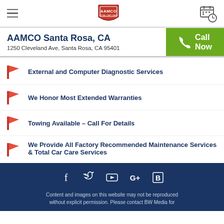AAMCO Total Car Care header with hamburger menu, AAMCO logo, and calendar/schedule icon
AAMCO Santa Rosa, CA
1250 Cleveland Ave, Santa Rosa, CA 95401
External and Computer Diagnostic Services
We Honor Most Extended Warranties
Towing Available – Call For Details
We Provide All Factory Recommended Maintenance Services & Total Car Care Services
Content and images on this website may not be reproduced without explicit permission. Please contact BW Media for